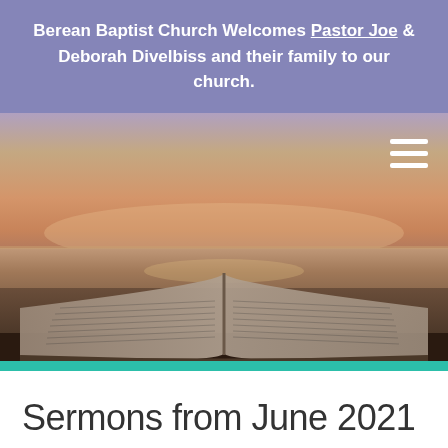Berean Baptist Church Welcomes Pastor Joe & Deborah Divelbiss and their family to our church.
[Figure (photo): Hero image of an open Bible resting on a wooden surface with a sunset over water in the background. A hamburger menu icon (three white horizontal lines) is visible in the top right corner.]
Sermons from June 2021